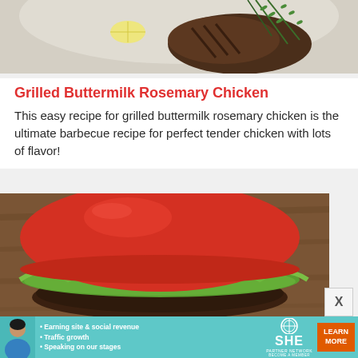[Figure (photo): Top partial view of a grilled chicken dish with rosemary garnish on a plate, cropped at the top]
Grilled Buttermilk Rosemary Chicken
This easy recipe for grilled buttermilk rosemary chicken is the ultimate barbecue recipe for perfect tender chicken with lots of flavor!
[Figure (photo): Close-up photo of a burger with a large red tomato bun top, lettuce, dark meat patty, and white sauce, on a wooden background]
[Figure (infographic): SHE Partner Network advertisement banner with bullet points: Earning site & social revenue, Traffic growth, Speaking on our stages, BECOME A MEMBER. Includes LEARN MORE button.]